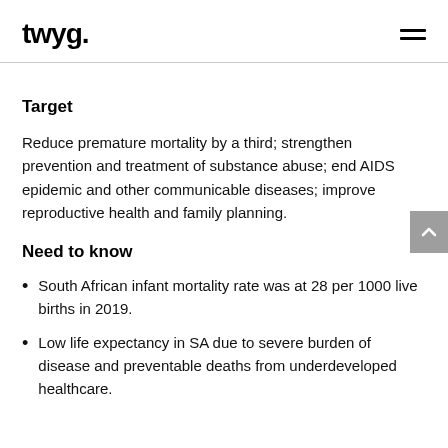twyg.
Target
Reduce premature mortality by a third; strengthen prevention and treatment of substance abuse; end AIDS epidemic and other communicable diseases; improve reproductive health and family planning.
Need to know
South African infant mortality rate was at 28 per 1000 live births in 2019.
Low life expectancy in SA due to severe burden of disease and preventable deaths from underdeveloped healthcare.